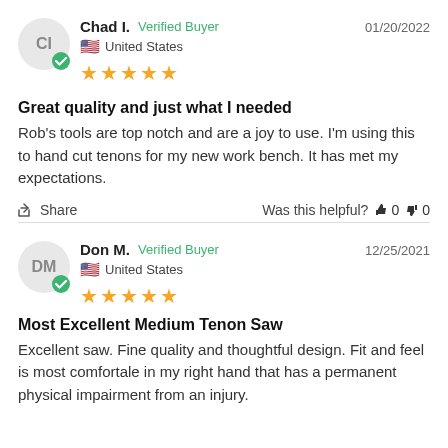Chad I. Verified Buyer 01/20/2022 United States ★★★★★
Great quality and just what I needed
Rob's tools are top notch and are a joy to use. I'm using this to hand cut tenons for my new work bench. It has met my expectations.
Share Was this helpful? 0 0
Don M. Verified Buyer 12/25/2021 United States ★★★★★
Most Excellent Medium Tenon Saw
Excellent saw. Fine quality and thoughtful design. Fit and feel is most comfortale in my right hand that has a permanent physical impairment from an injury.